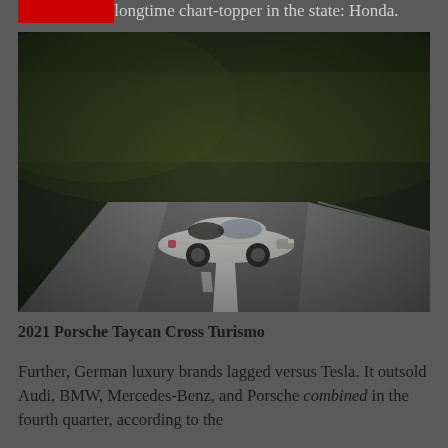outsell a longtime chart-topper in the state: Honda.
[Figure (photo): A white Porsche Taycan Cross Turismo driving on a winding road with green tree-covered hills in the background. The car is photographed from the front-left angle on a grey asphalt road with lane markings.]
2021 Porsche Taycan Cross Turismo
Further, German luxury brands lagged versus Tesla. It outsold Audi, BMW, Mercedes-Benz, and Porsche combined in the fourth quarter, according to the